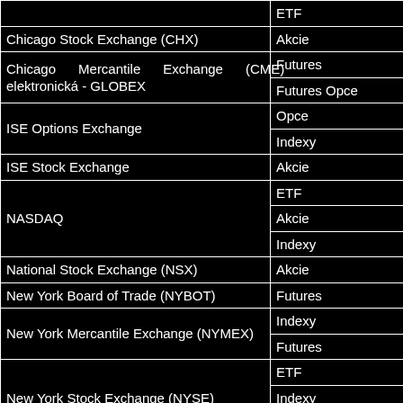| Exchange | Type |
| --- | --- |
|  | ETF |
| Chicago Stock Exchange (CHX) | Akcie |
| Chicago Mercantile Exchange (CME) elektronická - GLOBEX | Futures |
|  | Futures Opce |
| ISE Options Exchange | Opce |
|  | Indexy |
| ISE Stock Exchange | Akcie |
| NASDAQ | ETF |
|  | Akcie |
|  | Indexy |
| National Stock Exchange (NSX) | Akcie |
| New York Board of Trade (NYBOT) | Futures |
| New York Mercantile Exchange (NYMEX) | Indexy |
|  | Futures |
| New York Stock Exchange (NYSE) | ETF |
|  | Indexy |
|  | Akcie |
| NYSE Arca Bonds | Dluhopisy |
| ONE Chicago (ONE) | Futures |
|  | Indexy |